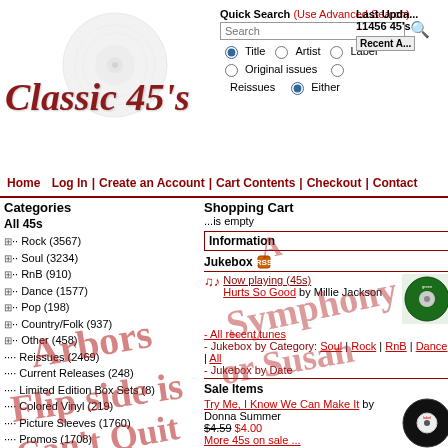[Figure (logo): Classic 45's website logo with vinyl record graphic and italic red text]
Quick Search (Use Advanced Search)
Last Updated 11456 45's
Recent Additions button
Search input box with radio options: Title, Artist, Label, Original issues, Reissues, Either
Home  Log In | Create an Account | Cart Contents | Checkout | Contact
Categories
All 45s
Rock (3567)
Soul (3234)
RnB (910)
Dance (1577)
Pop (198)
Country/Folk (937)
Other (458)
Reissues (2469)
Current Releases (248)
Limited Edition Box Sets (8)
Colored Vinyl (219)
Picture Sleeves (1760)
Promos (1708)
Merchandise (5)
Gift Certificates (4)
T-Shirts (2)
Ornaments (0)
Clocks (1)
Bookends (1)
Shopping Cart
...is empty
Information
Jukebox
Now playing (45s) - Hurts So Good by Millie Jackson
All recent tunes
- Jukebox by Category: Soul | Rock | RnB | Dance | All
- Jukebox by Date
Sale Items
Try Me, I Know We Can Make It by Donna Summer
$4.59 $4.00
More 45s on sale ...
Subscribe to Classic 45's!
Our weekly update service keeps you posted on all our new 45s. Give it a try!